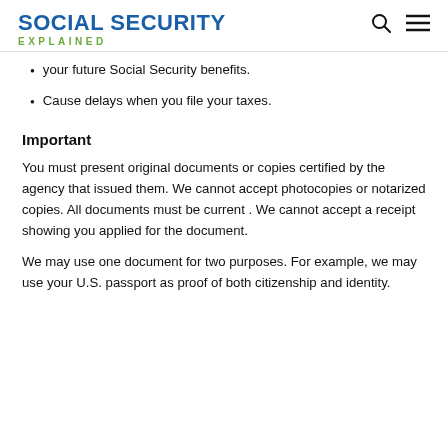SOCIAL SECURITY EXPLAINED
your future Social Security benefits.
Cause delays when you file your taxes.
Important
You must present original documents or copies certified by the agency that issued them. We cannot accept photocopies or notarized copies. All documents must be current . We cannot accept a receipt showing you applied for the document.
We may use one document for two purposes. For example, we may use your U.S. passport as proof of both citizenship and identity.